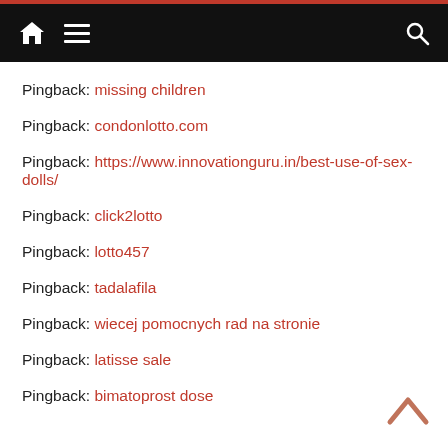Navigation bar with home, menu, and search icons
Pingback: missing children
Pingback: condonlotto.com
Pingback: https://www.innovationguru.in/best-use-of-sex-dolls/
Pingback: click2lotto
Pingback: lotto457
Pingback: tadalafila
Pingback: wiecej pomocnych rad na stronie
Pingback: latisse sale
Pingback: bimatoprost dose